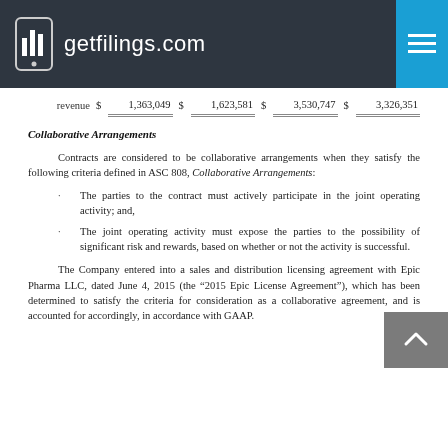getfilings.com
|  | $ | amount1 | $ | amount2 | $ | amount3 | $ | amount4 |
| --- | --- | --- | --- | --- | --- | --- | --- | --- |
| revenue | $ | 1,363,049 | $ | 1,623,581 | $ | 3,530,747 | $ | 3,326,351 |
Collaborative Arrangements
Contracts are considered to be collaborative arrangements when they satisfy the following criteria defined in ASC 808, Collaborative Arrangements:
The parties to the contract must actively participate in the joint operating activity; and,
The joint operating activity must expose the parties to the possibility of significant risk and rewards, based on whether or not the activity is successful.
The Company entered into a sales and distribution licensing agreement with Epic Pharma LLC, dated June 4, 2015 (the “2015 Epic License Agreement”), which has been determined to satisfy the criteria for consideration as a collaborative agreement, and is accounted for accordingly, in accordance with GAAP.